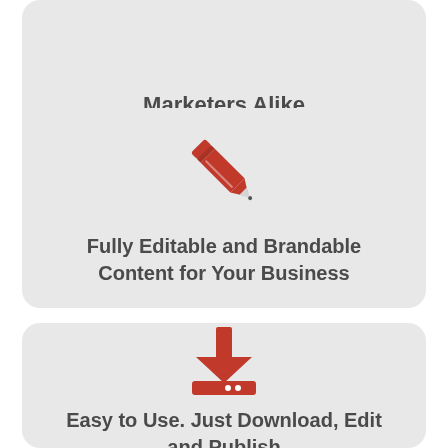Marketers Alike
[Figure (illustration): Red pencil icon on light gray card background]
Fully Editable and Brandable Content for Your Business
[Figure (illustration): Red download icon (arrow pointing down onto a tray with dots) on light gray card background]
Easy to Use. Just Download, Edit and Publish